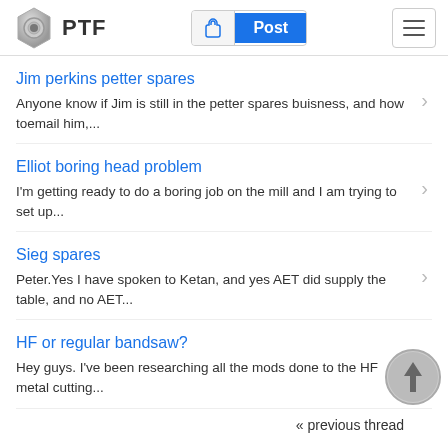[Figure (screenshot): PTF forum website header with logo (hex nut icon), PTF text, a Post button with hand icon, and hamburger menu]
Jim perkins petter spares
Anyone know if Jim is still in the petter spares buisness, and how toemail him,...
Elliot boring head problem
I'm getting ready to do a boring job on the mill and I am trying to set up...
Sieg spares
Peter.Yes I have spoken to Ketan, and yes AET did supply the table, and no AET...
HF or regular bandsaw?
Hey guys. I've been researching all the mods done to the HF metal cutting...
« previous thread
Routing Aluminum
I keep trying. Maybe one of those posts will actually make